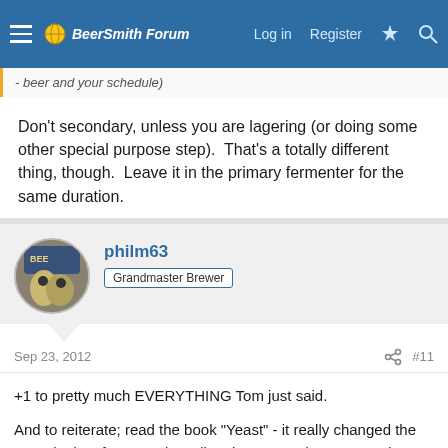BeerSmith Forum — Log in   Register
- beer and your schedule)
Don't secondary, unless you are lagering (or doing some other special purpose step).  That's a totally different thing, though.  Leave it in the primary fermenter for the same duration.
philm63
Grandmaster Brewer
Sep 23, 2012
#11
+1 to pretty much EVERYTHING Tom just said.
And to reiterate; read the book "Yeast" - it really changed the way I look at fermentation. I'll rack to secondary ONLY when I